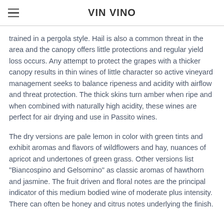VIN VINO
trained in a pergola style.  Hail is also a common threat in the area and the canopy offers little protections and regular yield loss occurs.  Any attempt to protect the grapes with a thicker canopy results in thin wines of little character so active vineyard management seeks to balance ripeness and acidity with airflow and threat protection.  The thick skins turn amber when ripe and when combined with naturally high acidity, these wines are perfect for air drying and use in Passito wines.
The dry versions are pale lemon in color with green tints and exhibit aromas and flavors of wildflowers and hay, nuances of apricot and undertones of green grass. Other versions list "Biancospino and Gelsomino" as classic aromas of hawthorn and jasmine.  The fruit driven and floral notes are the principal indicator of this medium bodied wine of moderate plus intensity.  There can often be honey and citrus notes underlying the finish.